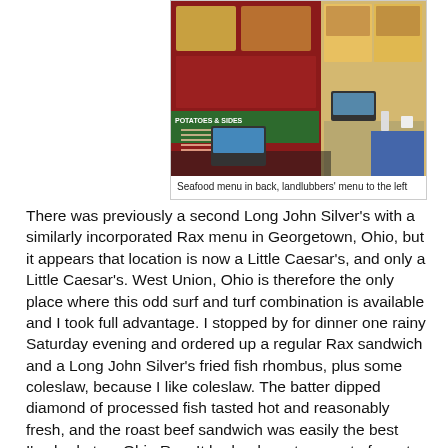[Figure (photo): Interior photo of a Long John Silver's / Rax combo restaurant showing menu boards on the wall. A red-and-green menu board on the left shows 'POTATOES & SIDES' section and food photos. A seafood menu board is visible in the back. The restaurant counter and register area are visible.]
Seafood menu in back, landlubbers' menu to the left
There was previously a second Long John Silver's with a similarly incorporated Rax menu in Georgetown, Ohio, but it appears that location is now a Little Caesar's, and only a Little Caesar's. West Union, Ohio is therefore the only place where this odd surf and turf combination is available and I took full advantage. I stopped by for dinner one rainy Saturday evening and ordered up a regular Rax sandwich and a Long John Silver's fried fish rhombus, plus some coleslaw, because I like coleslaw. The batter dipped diamond of processed fish tasted hot and reasonably fresh, and the roast beef sandwich was easily the best I've had at an Ohio Rax. It had a decent amount of meat that was nice and hot